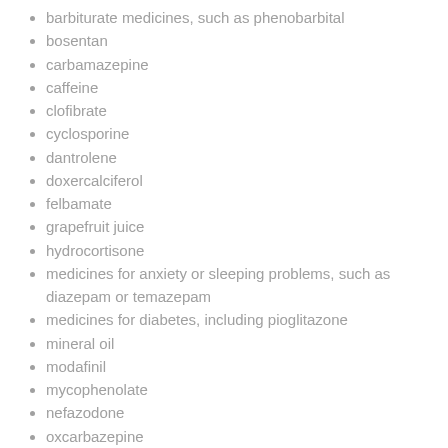barbiturate medicines, such as phenobarbital
bosentan
carbamazepine
caffeine
clofibrate
cyclosporine
dantrolene
doxercalciferol
felbamate
grapefruit juice
hydrocortisone
medicines for anxiety or sleeping problems, such as diazepam or temazepam
medicines for diabetes, including pioglitazone
mineral oil
modafinil
mycophenolate
nefazodone
oxcarbazepine
phenytoin
prednisolone
ritonavir or other medicines for HIV infection or AIDS